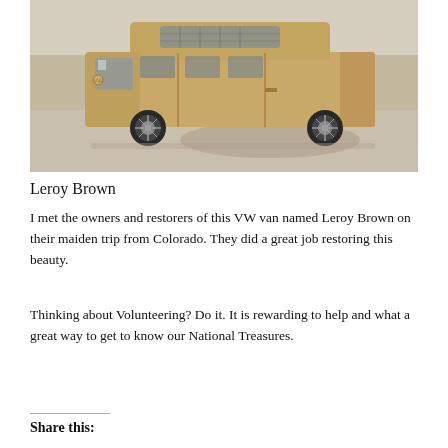[Figure (photo): A tan/beige VW Transporter (Type 2) van with a high roof, parked on a gravelly desert ground with a light-colored wall or embankment in the background. The van has aftermarket wheels and appears to be well-restored.]
Leroy Brown
I met the owners and restorers of this VW van named Leroy Brown on their maiden trip from Colorado. They did a great job restoring this beauty.
Thinking about Volunteering? Do it. It is rewarding to help and what a great way to get to know our National Treasures.
Share this: